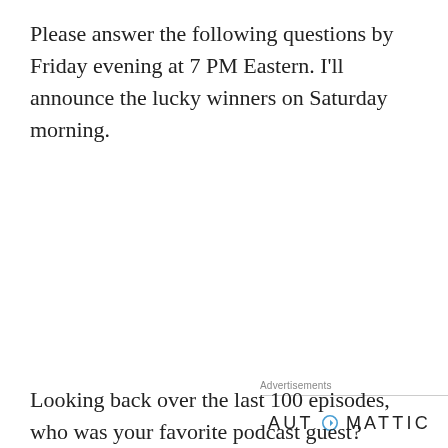Please answer the following questions by Friday evening at 7 PM Eastern. I'll announce the lucky winners on Saturday morning.
[Figure (infographic): Automattic advertisement banner. Shows the Automattic logo with a stylized 'O', tagline 'Build a better web and a better world.', an Apply button in blue, and a circular photo of a man thinking at a desk.]
Looking back over the last 100 episodes, who was your favorite podcast guest?